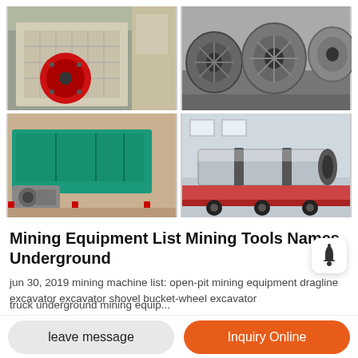[Figure (photo): Four photos of mining equipment arranged in a 2x2 grid: top-left shows an impact crusher with red flywheel; top-right shows large cylindrical steel fans/rollers in a warehouse; bottom-left shows a green vibrating feeder/screen machine; bottom-right shows a large rotary drum on a red flatbed truck.]
Mining Equipment List Mining Tools Names Underground
jun 30, 2019 mining machine list: open-pit mining equipment dragline excavator excavator shovel bucket-wheel excavator
truck underground mining equip...